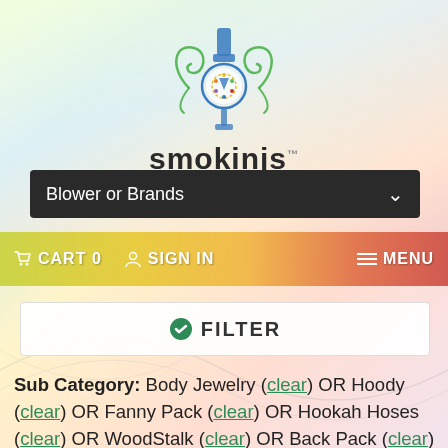[Figure (logo): smokinjs logo with decorative green swirl design and hookah-like icon above the text]
Blower or Brands
CART 0   SIGN IN   MENU
FILTER
Sub Category: Body Jewelry (clear) OR Hoody (clear) OR Fanny Pack (clear) OR Hookah Hoses (clear) OR WoodStalk (clear) OR Back Pack (clear) OR Concert Pipe (clear) OR Tie Dye T Shirt (clear) OR Drop Down (clear) OR 10mm (clear) OR Wood Box (clear) OR Stash Pocket Hats (clear)